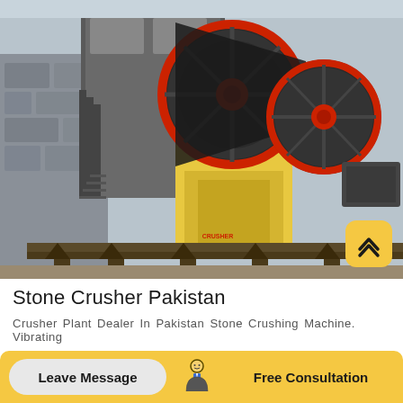[Figure (photo): Industrial stone crusher machine with large yellow flywheels connected by black belt drive, mounted on steel frame structure with stairs, outdoor industrial setting in Pakistan]
Stone Crusher Pakistan
Crusher Plant Dealer In Pakistan Stone Crushing Machine. Vibrating
[Figure (illustration): Bottom action bar with Leave Message button on grey rounded pill, consultant person icon in center, Free Consultation text on yellow background, and a yellow rounded square scroll-to-top button with upward chevron icon]